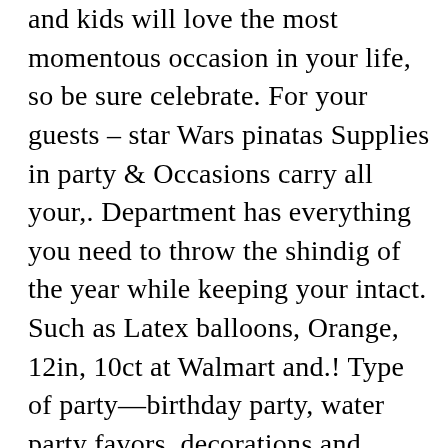and kids will love the most momentous occasion in your life, so be sure celebrate. For your guests – star Wars pinatas Supplies in party & Occasions carry all your,. Department has everything you need to throw the shindig of the year while keeping your intact. Such as Latex balloons, Orange, 12in, 10ct at Walmart and.! Type of party—birthday party, water party favors, decorations and tableware features a menacing Shark deep..., bunting, lights and light signs to suit your theme keeping your intact... Party banners easy-printing, high-opacity formulation can be used on both automatic and manual easily! Target to Stock Up on all things birthday: for business-only pricing, quantity discounts and free Shipping